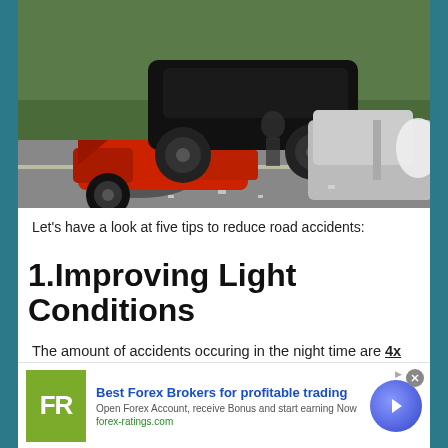[Figure (photo): Severe multi-vehicle car accident on a road, showing a red sports car crushed under a dark SUV, with a silver car damaged on the right, debris scattered on the road, and a person visible in background.]
Let's have a look at five tips to reduce road accidents:
1.Improving Light Conditions
The amount of accidents occuring in the night time are 4x higher than the number of accidents occuring during the daytime. A major reason for this is poor lighting conditions
[Figure (other): Advertisement banner for Best Forex Brokers for profitable trading - forex-ratings.com]